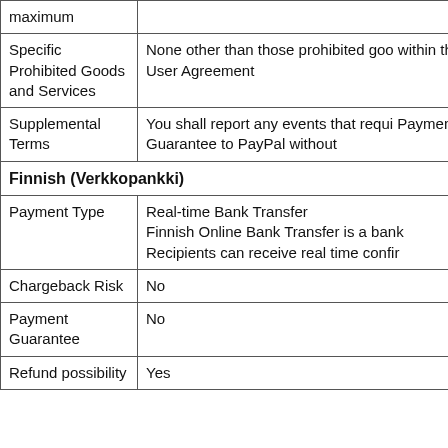|  |  |
| --- | --- |
| maximum |  |
| Specific Prohibited Goods and Services | None other than those prohibited goo within the User Agreement |
| Supplemental Terms | You shall report any events that requi Payment Guarantee to PayPal without |
| Finnish (Verkkopankki) |  |
| Payment Type | Real-time Bank Transfer
Finnish Online Bank Transfer is a bank
Recipients can receive real time confir |
| Chargeback Risk | No |
| Payment Guarantee | No |
| Refund possibility | Yes |